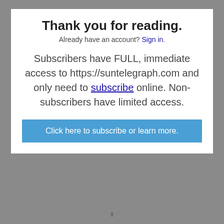Thank you for reading.
Already have an account? Sign in.
Subscribers have FULL, immediate access to https://suntelegraph.com and only need to subscribe online. Non-subscribers have limited access.
Click here to subscribe or learn more.